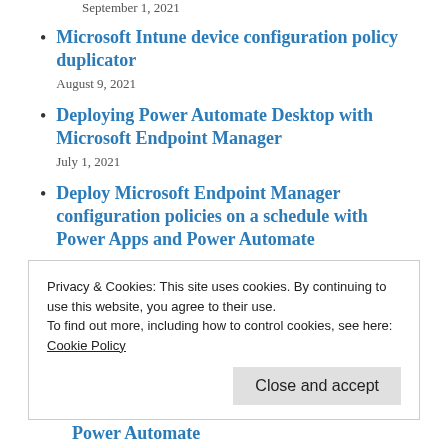September 1, 2021
Microsoft Intune device configuration policy duplicator
August 9, 2021
Deploying Power Automate Desktop with Microsoft Endpoint Manager
July 1, 2021
Deploy Microsoft Endpoint Manager configuration policies on a schedule with Power Apps and Power Automate
Privacy & Cookies: This site uses cookies. By continuing to use this website, you agree to their use.
To find out more, including how to control cookies, see here:
Cookie Policy
Close and accept
Power Automate